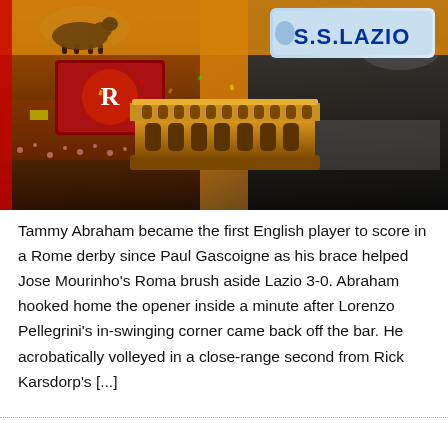[Figure (photo): Composite image showing Roma vs Lazio derby scenes: stadium crowds with flags, AS Roma and S.S. Lazio crests/logos, a screen showing the Roma logo, and the Colosseum illuminated in gold at center bottom.]
Tammy Abraham became the first English player to score in a Rome derby since Paul Gascoigne as his brace helped Jose Mourinho's Roma brush aside Lazio 3-0. Abraham hooked home the opener inside a minute after Lorenzo Pellegrini's in-swinging corner came back off the bar. He acrobatically volleyed in a close-range second from Rick Karsdorp's [...]